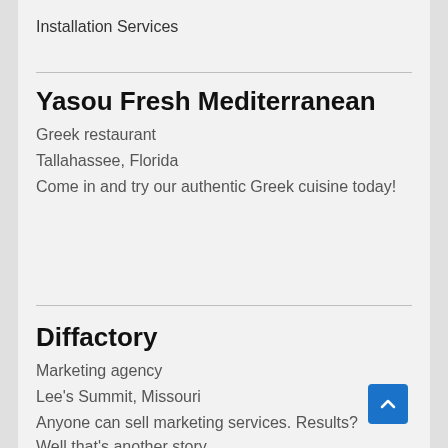Installation Services
Yasou Fresh Mediterranean
Greek restaurant
Tallahassee, Florida
Come in and try our authentic Greek cuisine today!
Diffactory
Marketing agency
Lee's Summit, Missouri
Anyone can sell marketing services. Results? Well that's another story.